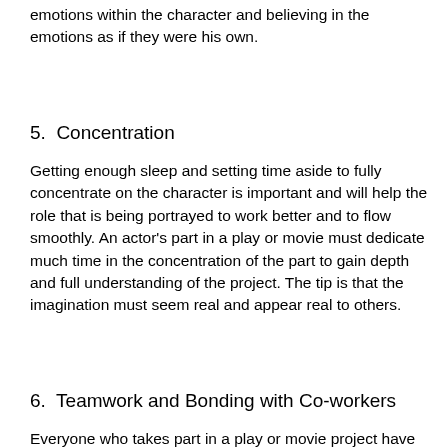emotions within the character and believing in the emotions as if they were his own.
5.  Concentration
Getting enough sleep and setting time aside to fully concentrate on the character is important and will help the role that is being portrayed to work better and to flow smoothly. An actor's part in a play or movie must dedicate much time in the concentration of the part to gain depth and full understanding of the project. The tip is that the imagination must seem real and appear real to others.
6.  Teamwork and Bonding with Co-workers
Everyone who takes part in a play or movie project have